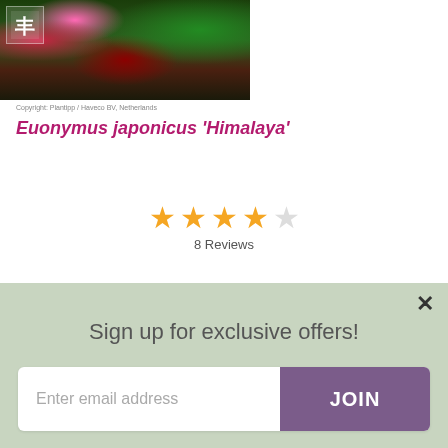[Figure (photo): Plant photo showing Euonymus japonicus 'Himalaya' with red, green and dark foliage. Logo mark visible in top-left corner.]
Copyright: Plantipp / Haveco BV, Netherlands
Euonymus japonicus 'Himalaya'
[Figure (other): 4 out of 5 star rating with label '8 Reviews']
Sun shade: sun or semi shade
Grows in: Borders
Flower Colour: Cream
Longevity: Shrub
Sign up for exclusive offers!
Enter email address
JOIN